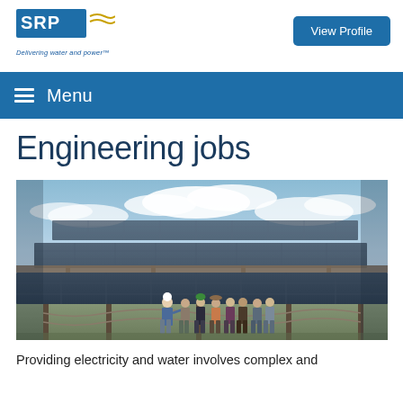SRP - Delivering water and power™
View Profile
Menu
Engineering jobs
[Figure (photo): Group of people with hard hats standing under large solar panel arrays at a solar facility, with blue sky and clouds in background. An instructor in a blue jacket and white hard hat appears to be presenting to the group.]
Providing electricity and water involves complex and